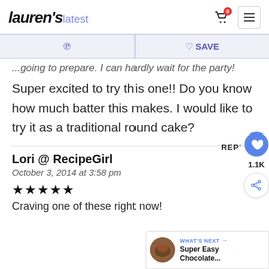Lauren's latest
♙   ♡ SAVE
Super excited to try this one!! Do you know how much batter this makes. I would like to try it as a traditional round cake?
Lori @ RecipeGirl
October 3, 2014 at 3:58 pm
★★★★★
Craving one of these right now!
WHAT'S NEXT → Super Easy Chocolate...